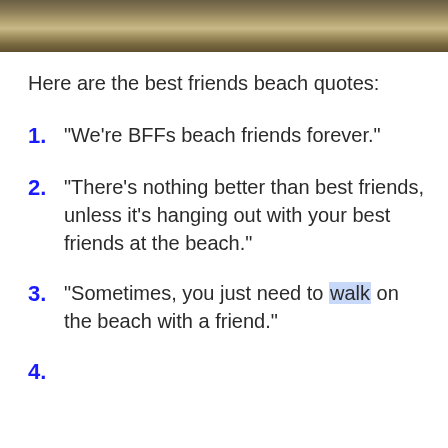[Figure (photo): Sandy beach texture photo strip at top of page]
Here are the best friends beach quotes:
1. “We’re BFFs beach friends forever.”
2. “There’s nothing better than best friends, unless it’s hanging out with your best friends at the beach.”
3. “Sometimes, you just need to walk on the beach with a friend.”
4.